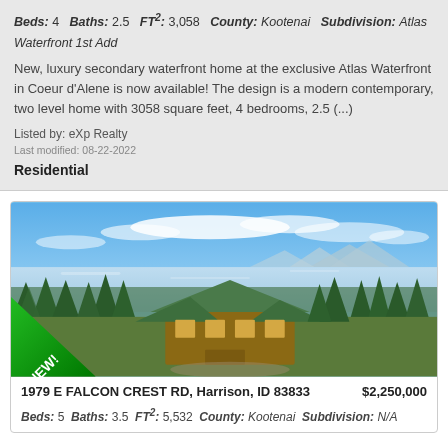Beds: 4  Baths: 2.5  FT²: 3,058  County: Kootenai  Subdivision: Atlas Waterfront 1st Add
New, luxury secondary waterfront home at the exclusive Atlas Waterfront in Coeur d'Alene is now available! The design is a modern contemporary, two level home with 3058 square feet, 4 bedrooms, 2.5 (...)
Listed by: eXp Realty
Last modified: 08-22-2022
Residential
[Figure (photo): Aerial/elevated photo of a large rustic log-style home with green roof surrounded by pine trees, with a lake and mountains in the background under a blue sky with clouds. A green 'NEW!' banner is visible in the lower-left corner.]
1979 E FALCON CREST RD, Harrison, ID 83833    $2,250,000
Beds: 5  Baths: 3.5  FT²: 5,532  County: Kootenai  Subdivision: N/A